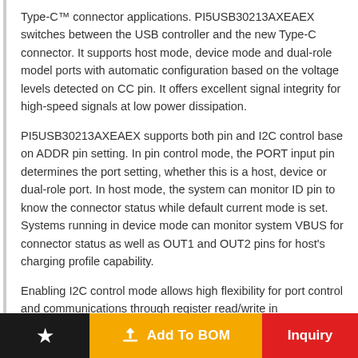Type-C™ connector applications. PI5USB30213AXEAEX switches between the USB controller and the new Type-C connector. It supports host mode, device mode and dual-role model ports with automatic configuration based on the voltage levels detected on CC pin. It offers excellent signal integrity for high-speed signals at low power dissipation.
PI5USB30213AXEAEX supports both pin and I2C control base on ADDR pin setting. In pin control mode, the PORT input pin determines the port setting, whether this is a host, device or dual-role port. In host mode, the system can monitor ID pin to know the connector status while default current mode is set. Systems running in device mode can monitor system VBUS for connector status as well as OUT1 and OUT2 pins for host's charging profile capability.
Enabling I2C control mode allows high flexibility for port control and communications through register read/write in PI5USB30213A. There is also flexibility to support default, 1.5A, and 3A current models. An interrupt signal for indicating changes
★  Add To BOM  Inquiry